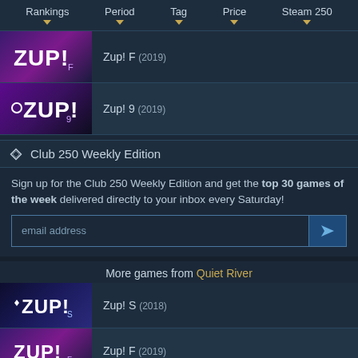Rankings | Period | Tag | Price | Steam 250
Zup! F (2019)
Zup! 9 (2019)
Club 250 Weekly Edition
Sign up for the Club 250 Weekly Edition and get the top 30 games of the week delivered directly to your inbox every Saturday!
More games from Quiet River
Zup! S (2018)
Zup! F (2019)
Zup! X (2018)
Zup! Z (2020)